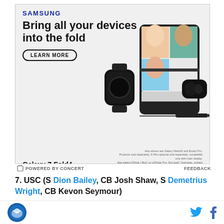[Figure (screenshot): Samsung Galaxy Z Fold4 advertisement showing the fold phone, a smartwatch, earbuds, and a stylus. Headline: Bring all your devices into the fold. Button: LEARN MORE. Brand: SAMSUNG. Model: Galaxy Z Fold4.]
POWERED BY CONCERT    FEEDBACK
7. USC (S Dion Bailey, CB Josh Shaw, S Demetrius Wright, CB Kevon Seymour)
This unit got a major shot in the arm when stud linebacker Bailey was moved back to safety but it still